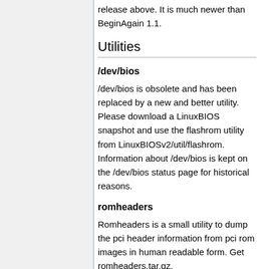release above. It is much newer than BeginAgain 1.1.
Utilities
/dev/bios
/dev/bios is obsolete and has been replaced by a new and better utility. Please download a LinuxBIOS snapshot and use the flashrom utility from LinuxBIOSv2/util/flashrom. Information about /dev/bios is kept on the /dev/bios status page for historical reasons.
romheaders
Romheaders is a small utility to dump the pci header information from pci rom images in human readable form. Get romheaders.tar.gz.